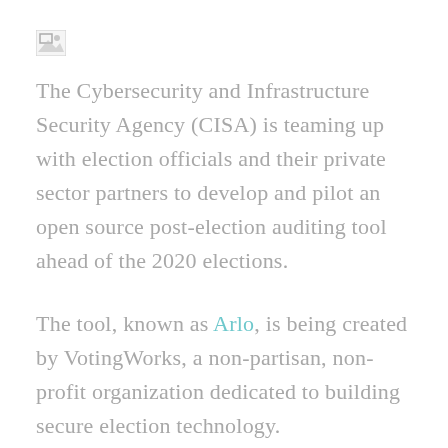[Figure (other): Broken image placeholder icon in top left area]
The Cybersecurity and Infrastructure Security Agency (CISA) is teaming up with election officials and their private sector partners to develop and pilot an open source post-election auditing tool ahead of the 2020 elections.
The tool, known as Arlo, is being created by VotingWorks, a non-partisan, non-profit organization dedicated to building secure election technology.